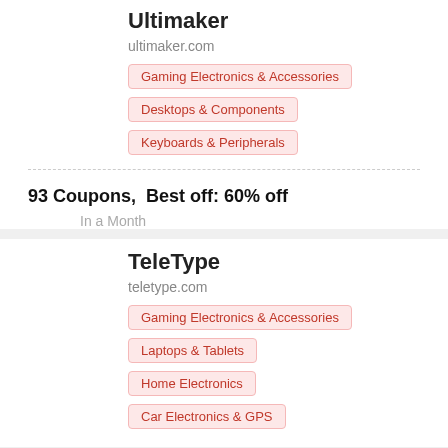Ultimaker
ultimaker.com
Gaming Electronics & Accessories
Desktops & Components
Keyboards & Peripherals
93 Coupons,  Best off: 60% off
In a Month
TeleType
teletype.com
Gaming Electronics & Accessories
Laptops & Tablets
Home Electronics
Car Electronics & GPS